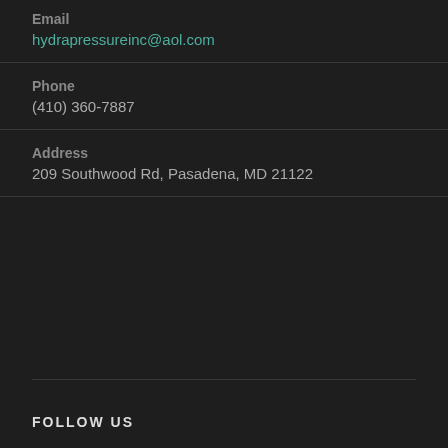Email
hydrapressureinc@aol.com
Phone
(410) 360-7887
Address
209 Southwood Rd, Pasadena, MD 21122
FOLLOW US